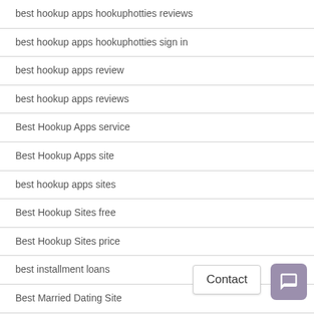best hookup apps hookuphotties reviews
best hookup apps hookuphotties sign in
best hookup apps review
best hookup apps reviews
Best Hookup Apps service
Best Hookup Apps site
best hookup apps sites
Best Hookup Sites free
Best Hookup Sites price
best installment loans
Best Married Dating Site
best no teletrack payday loans